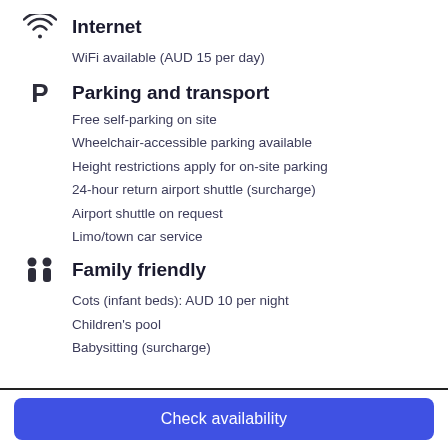Internet
WiFi available (AUD 15 per day)
Parking and transport
Free self-parking on site
Wheelchair-accessible parking available
Height restrictions apply for on-site parking
24-hour return airport shuttle (surcharge)
Airport shuttle on request
Limo/town car service
Family friendly
Cots (infant beds): AUD 10 per night
Children's pool
Babysitting (surcharge)
Check availability